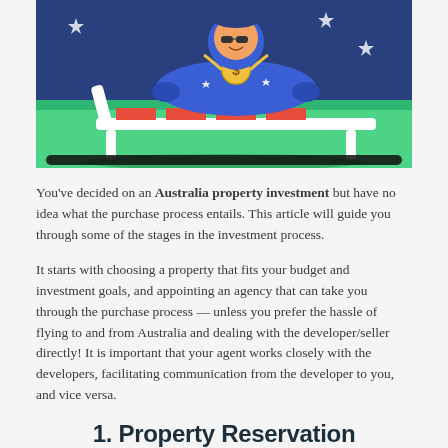[Figure (illustration): Colorful cartoon illustration of a person relaxing on a lounge chair, wearing Australian flag-patterned clothing and a gold dollar sign chain necklace, against a green and dark blue background.]
You've decided on an Australia property investment but have no idea what the purchase process entails. This article will guide you through some of the stages in the investment process.
It starts with choosing a property that fits your budget and investment goals, and appointing an agency that can take you through the purchase process — unless you prefer the hassle of flying to and from Australia and dealing with the developer/seller directly! It is important that your agent works closely with the developers, facilitating communication from the developer to you, and vice versa.
1. Property Reservation